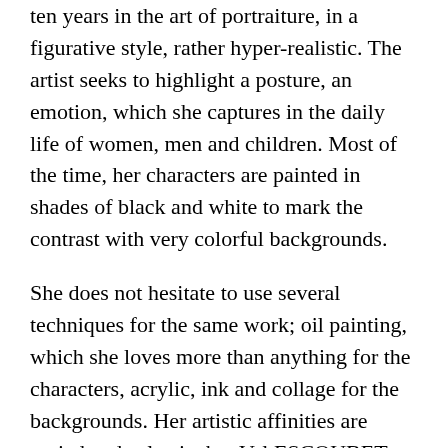ten years in the art of portraiture, in a figurative style, rather hyper-realistic. The artist seeks to highlight a posture, an emotion, which she captures in the daily life of women, men and children. Most of the time, her characters are painted in shades of black and white to mark the contrast with very colorful backgrounds.
She does not hesitate to use several techniques for the same work; oil painting, which she loves more than anything for the characters, acrylic, ink and collage for the backgrounds. Her artistic affinities are varied and eclectic, but Val ESCOUBET draws most of her inspiration from Street-art and fashion illustration.
“I want my painting to be alive and to have the impression that the subject is going to come out of the canvas” … this is the goal she pursues with each new